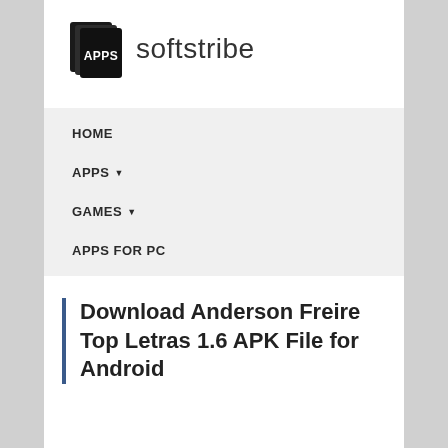[Figure (logo): Softstribe logo: stacked pages icon with APPS text and 'softstribe' wordmark]
HOME
APPS ▾
GAMES ▾
APPS FOR PC
Download Anderson Freire Top Letras 1.6 APK File for Android